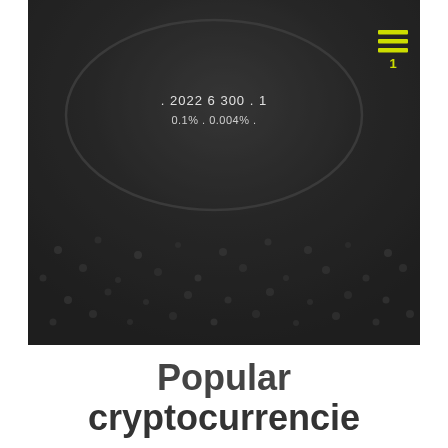[Figure (screenshot): Dark background screenshot of a cryptocurrency app showing an oval/ellipse UI element with text '. 2022 6  300' and '0.1% .  0.004% .' inside it, with a hamburger menu icon showing three yellow bars and number 1 in top right corner. The lower portion shows a dark textured background with subtle dot patterns.]
Popular cryptocurrencie